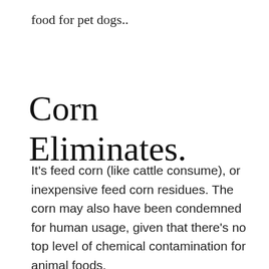food for pet dogs..
Corn Eliminates.
It's feed corn (like cattle consume), or inexpensive feed corn residues. The corn may also have been condemned for human usage, given that there's no top level of chemical contamination for animal foods.
If that weren't poor enough, corn (which provides us both high fructose corn syrup and corn oil) is